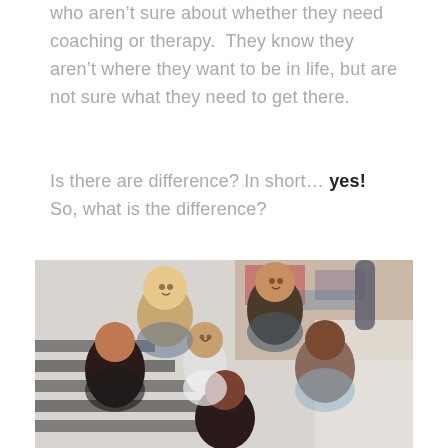who aren't sure about whether they need coaching or therapy. They know they aren't where they want to be in life, but are not sure what they need to get there.
Is there are difference? In short… yes! So, what is the difference?
[Figure (photo): A group of six diverse smiling people posing together on stairs, with colorful graffiti in the background. The group includes people of various ethnicities, genders, and hair styles.]